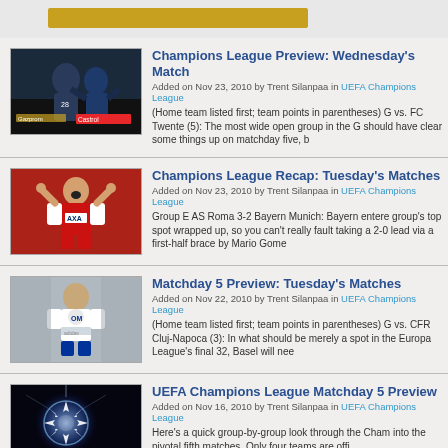Champions League Preview: Wednesday's Matches
Added on Nov 23, 2010 by Trent Silanpaa in UEFA Champions League
(Home team listed first; team points in parentheses) G vs. FC Twente (5): The most wide open group in the G should have clear some things up on matchday five, b
Champions League Recap: Tuesday's Matches
Added on Nov 23, 2010 by Trent Silanpaa in UEFA Champions League
Group E AS Roma 3-2 Bayern Munich: Bayern entere group's top spot wrapped up, so you can't really fault taking a 2-0 lead via a first-half brace by Mario Gome
Matchday 5 Preview: Tuesday's Matches
Added on Nov 22, 2010 by Trent Silanpaa in UEFA Champions League
(Home team listed first; team points in parentheses) G vs. CFR Cluj-Napoca (3): In what should be merely a spot in the Europa League's final 32, Basel will nee
UEFA Champions League Matchday 5 Preview
Added on Nov 16, 2010 by Trent Silanpaa in UEFA Champions League
Here's a quick group-by-group look through the Cham into the pivotal fifth matches. Only four teams are offi